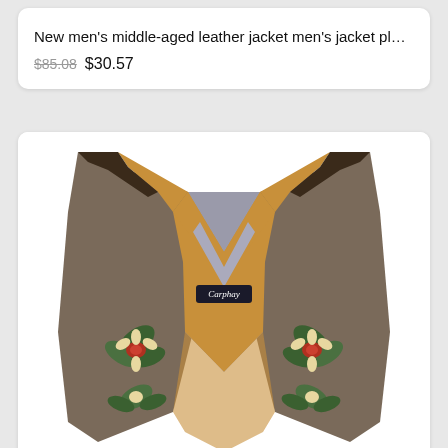New men's middle-aged leather jacket men's jacket plus velvet t...
$85.08 $30.57
[Figure (photo): Front view of a tan/brown suede leather vest with colorful Native American-style floral/geometric embroidery patches on the lower front panels and collar area. The vest is open-front showing a grey lining with a brand label reading 'Carphay'. Dark trim at shoulder area.]